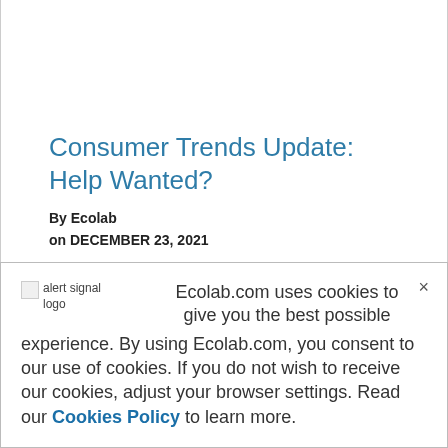Consumer Trends Update: Help Wanted?
By Ecolab
on DECEMBER 23, 2021
[Figure (other): Alert signal logo image placeholder]
Ecolab.com uses cookies to give you the best possible experience. By using Ecolab.com, you consent to our use of cookies. If you do not wish to receive our cookies, adjust your browser settings. Read our Cookies Policy to learn more.